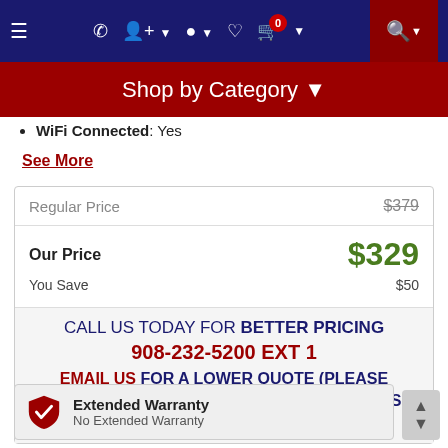[Figure (screenshot): Navigation bar with hamburger menu, phone, user, location, heart, cart (0), and search icons on dark blue background]
Shop by Category ▾
WiFi Connected: Yes
See More
|  |  |
| --- | --- |
| Regular Price | $379 |
| Our Price | $329 |
| You Save | $50 |
CALL US TODAY FOR BETTER PRICING 908-232-5200 EXT 1 EMAIL US FOR A LOWER QUOTE (PLEASE INCLUDE YOUR ZIP CODE) OR CHAT WITH US NOW.
Extended Warranty
No Extended Warranty